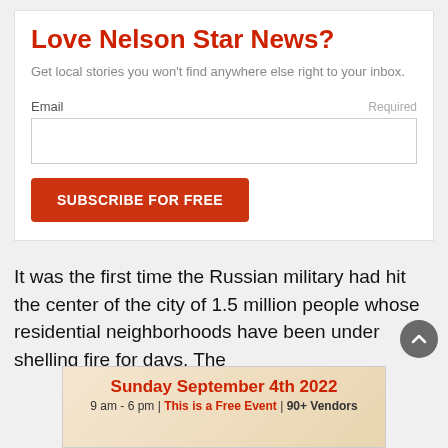Love Nelson Star News?
Get local stories you won't find anywhere else right to your inbox.
Email  Required
SUBSCRIBE FOR FREE
It was the first time the Russian military had hit the center of the city of 1.5 million people whose residential neighborhoods have been under shelling fire for days. The
[Figure (screenshot): Advertisement banner: Sunday September 4th 2022, 9 am - 6 pm | This is a Free Event | 90+ Vendors]